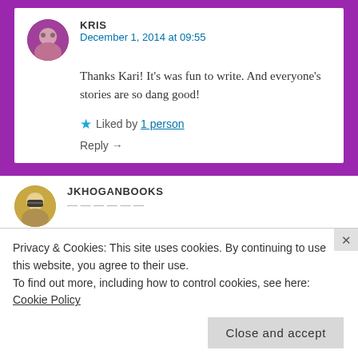KRIS
December 1, 2014 at 09:55

Thanks Kari! It's was fun to write. And everyone's stories are so dang good!

★ Liked by 1 person

Reply →
JKHOGANBOOKS
Privacy & Cookies: This site uses cookies. By continuing to use this website, you agree to their use.
To find out more, including how to control cookies, see here:
Cookie Policy

Close and accept